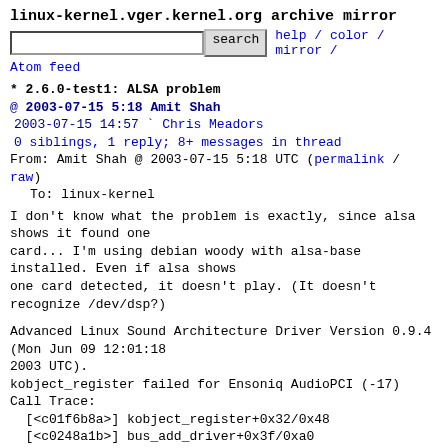linux-kernel.vger.kernel.org archive mirror
search  help / color / mirror / Atom feed
* 2.6.0-test1: ALSA problem
@ 2003-07-15  5:18 Amit Shah
  2003-07-15 14:57 ` Chris Meadors
  0 siblings, 1 reply; 8+ messages in thread
From: Amit Shah @ 2003-07-15  5:18 UTC (permalink / raw)
  To: linux-kernel
I don't know what the problem is exactly, since alsa shows it found one
card... I'm using debian woody with alsa-base installed. Even if alsa shows
one card detected, it doesn't play. (It doesn't recognize /dev/dsp?)
Advanced Linux Sound Architecture Driver Version 0.9.4
(Mon Jun 09 12:01:18
2003 UTC).
kobject_register failed for Ensoniq AudioPCI (-17)
Call Trace:
  [<c01f6b8a>] kobject_register+0x32/0x48
  [<c0248a1b>] bus_add_driver+0x3f/0xa0
  [<c0248e0a>] driver_register+0x36/0x3c
  [<c01fb236>] pci_register_driver+0x6a/0x90